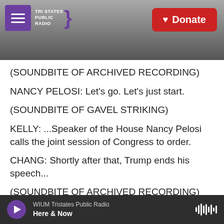[Figure (screenshot): Tri States Public Radio website header with hamburger menu, logo, and red Donate button over a grey background photo of a radio tower]
(SOUNDBITE OF ARCHIVED RECORDING)
NANCY PELOSI: Let’s go. Let’s just start.
(SOUNDBITE OF GAVEL STRIKING)
KELLY: ...Speaker of the House Nancy Pelosi calls the joint session of Congress to order.
CHANG: Shortly after that, Trump ends his speech...
(SOUNDBITE OF ARCHIVED RECORDING)
WIUM Tristates Public Radio Here & Now